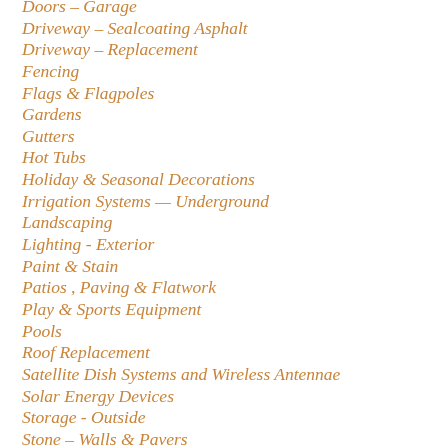Doors – Garage
Driveway – Sealcoating Asphalt
Driveway – Replacement
Fencing
Flags & Flagpoles
Gardens
Gutters
Hot Tubs
Holiday & Seasonal Decorations
Irrigation Systems — Underground
Landscaping
Lighting - Exterior
Paint & Stain
Patios , Paving & Flatwork
Play & Sports Equipment
Pools
Roof Replacement
Satellite Dish Systems and Wireless Antennae
Solar Energy Devices
Storage - Outside
Stone – Walls & Pavers
Sump Pump Discharge Hoses